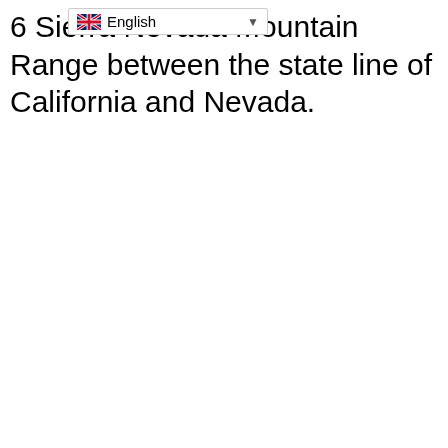6... Sierra Nevada Mountain Range between the state line of California and Nevada.
[Figure (screenshot): A browser language selector dropdown showing a UK flag icon and the text 'English' with a dropdown arrow, overlaid on the text content.]